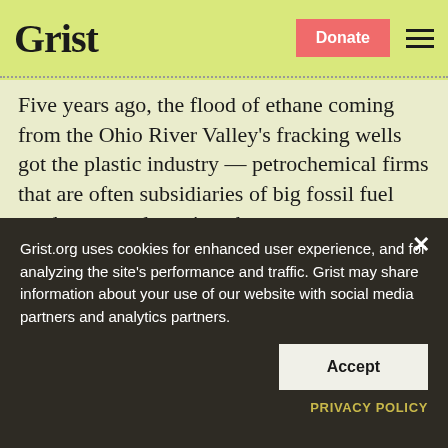Grist
Five years ago, the flood of ethane coming from the Ohio River Valley's fracking wells got the plastic industry — petrochemical firms that are often subsidiaries of big fossil fuel producers — dreaming about a new generation of massive plants in the region. Companies envisioned building as many as f…
Grist.org uses cookies for enhanced user experience, and for analyzing the site's performance and traffic. Grist may share information about your use of our website with social media partners and analytics partners.